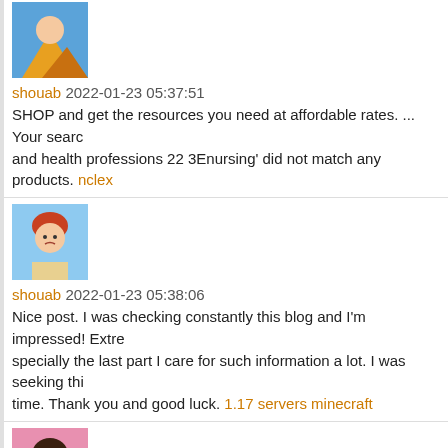shouab 2022-01-23 05:37:51
SHOP and get the resources you need at affordable rates. ... Your search and health professions 22 3Enursing' did not match any products. nclex
shouab 2022-01-23 05:38:06
Nice post. I was checking constantly this blog and I'm impressed! Extremely specially the last part I care for such information a lot. I was seeking this time. Thank you and good luck. 1.17 servers minecraft
famog94423 2022-01-23 17:13:29
While you're any of the lucky enough choices, it comes evidently, while o the particular coveted by ly folks other useful you you meet may possibly this particular problem. pre owned awnings Kumaş Alan
famog94423 2022-01-23 18:31:43
I was trying to find this. Really refreshing take on the information. Thank некоммерческая экспертиза проектной документации